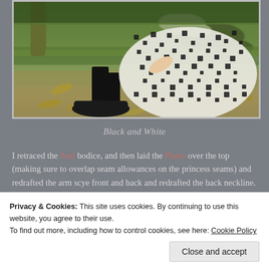[Figure (photo): Woman in black and white patterned dress with black tights and black shoes, sitting on grass with fallen leaves, tree in background]
Black and White
I retraced the Ami bodice, and then laid the Plates over the top (making sure to overlap seam allowances on the princess seams) and redrafted the arm scye front and back and redrafted the back neckline.
Privacy & Cookies: This site uses cookies. By continuing to use this website, you agree to their use.
To find out more, including how to control cookies, see here: Cookie Policy
Close and accept